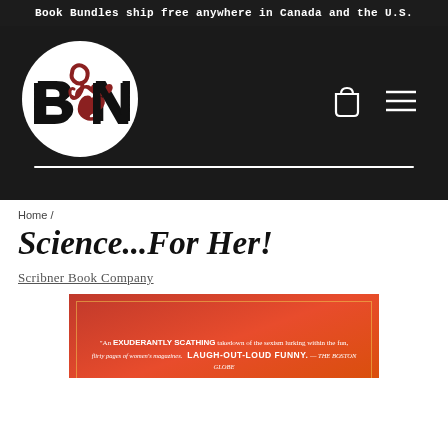Book Bundles ship free anywhere in Canada and the U.S.
[Figure (logo): BON Books logo — white circle with bold 'BON' text, the 'O' styled as a decorative red hook/ampersand swirl, on a dark/black background. Cart icon and hamburger menu icon on the right side.]
Home /
Science...For Her!
Scribner Book Company
[Figure (photo): Book cover with orange/red background showing a quote: 'An EXUBERANTLY SCATHING takedown of the sexism lurking within the fun, flirty pages of women's magazines. LAUGH-OUT-LOUD FUNNY.' — THE BOSTON GLOBE]